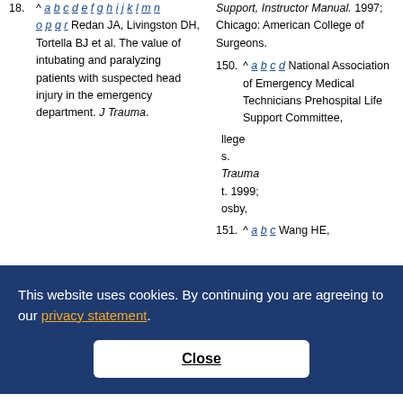18. ^ a b c d e f g h i j k l m n o p q r Redan JA, Livingston DH, Tortella BJ et al. The value of intubating and paralyzing patients with suspected head injury in the emergency department. J Trauma.
Support, Instructor Manual. 1997; Chicago: American College of Surgeons.
150. ^ a b c d National Association of Emergency Medical Technicians Prehospital Life Support Committee, ...college ...s. ...Trauma ...t. 1999; ...osby,
151. ^ a b c Wang HE,
This website uses cookies. By continuing you are agreeing to our privacy statement.
Close